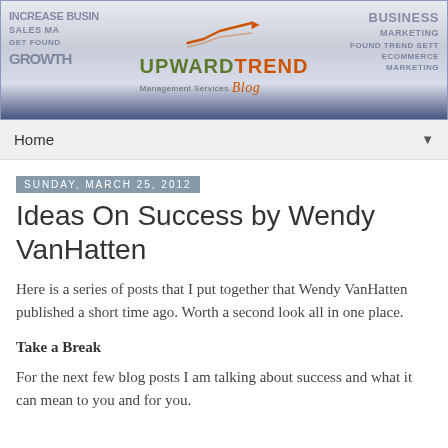[Figure (logo): UpwardTrend Management Services Blog banner header with text words related to business, sales, marketing, growth on left and right sides, and centered logo with upward trend chart icon.]
Home
Sunday, March 25, 2012
Ideas On Success by Wendy VanHatten
Here is a series of posts that I put together that Wendy VanHatten published a short time ago. Worth a second look all in one place.
Take a Break
For the next few blog posts I am talking about success and what it can mean to you and for you.